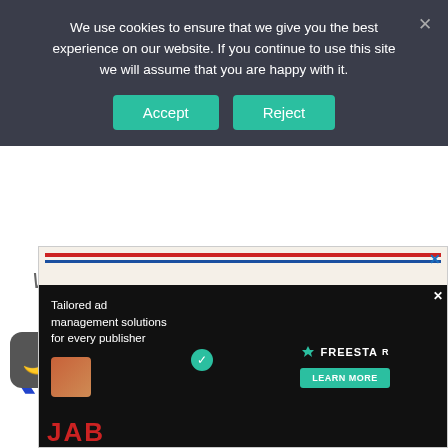We use cookies to ensure that we give you the best experience on our website. If you continue to use this site we will assume that you are happy with it.
Accept
Reject
Wen Run.
[Figure (screenshot): Navigation arrow left chevron in blue]
[Figure (screenshot): Navigation arrow right chevron in blue]
[Figure (infographic): Advertisement banner for Freestar tailored ad management solutions with dark background, green checkmark icons, and a book cover showing JAB text in red]